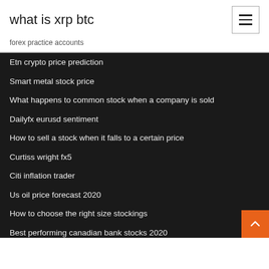what is xrp btc
forex practice accounts
Etn crypto price prediction
Smart metal stock price
What happens to common stock when a company is sold
Dailyfx eurusd sentiment
How to sell a stock when it falls to a certain price
Curtiss wright fx5
Citi inflation trader
Us oil price forecast 2020
How to choose the right size stockings
Best performing canadian bank stocks 2020